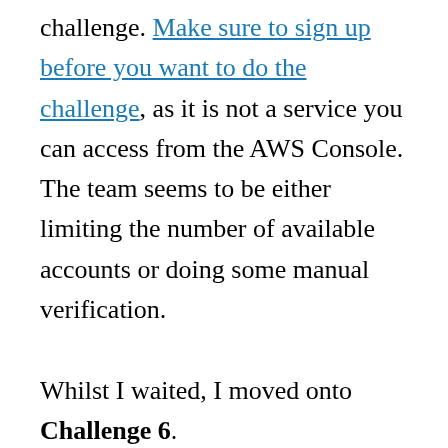challenge. Make sure to sign up before you want to do the challenge, as it is not a service you can access from the AWS Console. The team seems to be either limiting the number of available accounts or doing some manual verification.

Whilst I waited, I moved onto Challenge 6.

But this one wasn't so bad even with SageMaker's UI being a bit confusing. Not sure if I actually learned any ML though